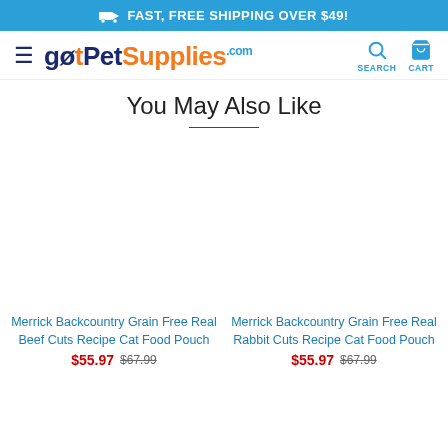🚚 FAST, FREE SHIPPING OVER $49!
[Figure (logo): gotPetSupplies.com logo with hamburger menu, search and cart icons]
You May Also Like
Merrick Backcountry Grain Free Real Beef Cuts Recipe Cat Food Pouch
$55.97 $67.99
Merrick Backcountry Grain Free Real Rabbit Cuts Recipe Cat Food Pouch
$55.97 $67.99